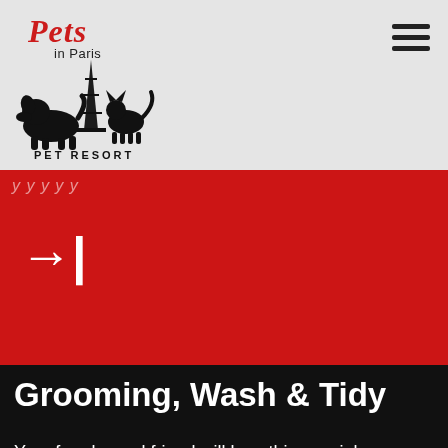[Figure (logo): Pets in Paris Pet Resort logo with silhouette of dog and cat in front of Eiffel Tower]
→|
Grooming, Wash & Tidy
Your four legged friend will love this special treatment that includes:
Nails trimmed, ears cleaned, paws tidied, belly and bottom shaved, warm wash, blow dry and a brush